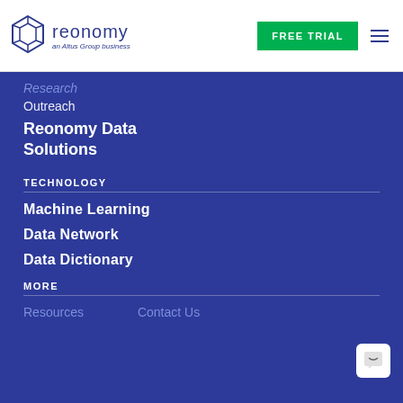[Figure (logo): Reonomy logo with geometric diamond/box shape icon, text 'reonomy' and subtitle 'an Altus Group business']
FREE TRIAL
Research
Outreach
Reonomy Data Solutions
TECHNOLOGY
Machine Learning
Data Network
Data Dictionary
MORE
Resources
Contact Us